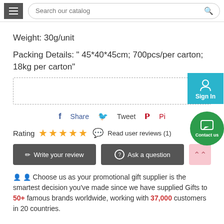Search our catalog
Weight: 30g/unit
Packing Details: " 45*40*45cm; 700pcs/per carton; 18kg per carton"
Share  Tweet  Pin
Rating ★★★★★  Read user reviews (1)
Write your review  Ask a question
Choose us as your promotional gift supplier is the smartest decision you've made since we have supplied Gifts to 50+ famous brands worldwide, working with 37,000 customers in 20 countries.